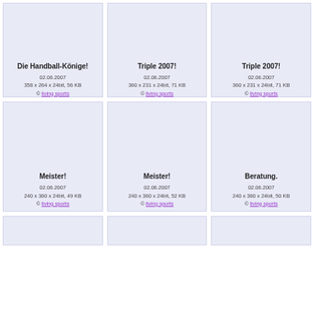[Figure (photo): Image thumbnail placeholder - Die Handball-Könige!]
Die Handball-Könige!
02.06.2007
358 x 264 x 24bit, 56 KB
© living sports
[Figure (photo): Image thumbnail placeholder - Triple 2007!]
Triple 2007!
02.06.2007
360 x 231 x 24bit, 71 KB
© living sports
[Figure (photo): Image thumbnail placeholder - Triple 2007!]
Triple 2007!
02.06.2007
360 x 231 x 24bit, 71 KB
© living sports
[Figure (photo): Image thumbnail placeholder - Meister!]
Meister!
02.06.2007
240 x 360 x 24bit, 49 KB
© living sports
[Figure (photo): Image thumbnail placeholder - Meister!]
Meister!
02.06.2007
240 x 360 x 24bit, 52 KB
© living sports
[Figure (photo): Image thumbnail placeholder - Beratung.]
Beratung.
02.06.2007
240 x 360 x 24bit, 50 KB
© living sports